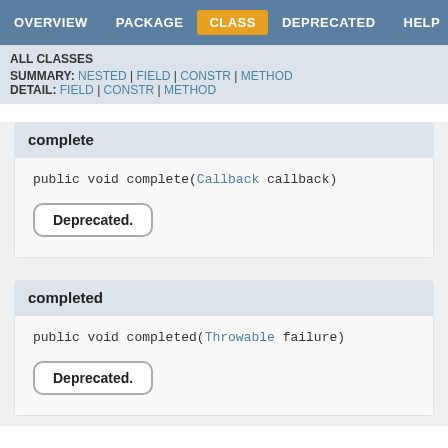OVERVIEW | PACKAGE | CLASS | DEPRECATED | HELP
ALL CLASSES
SUMMARY: NESTED | FIELD | CONSTR | METHOD
DETAIL: FIELD | CONSTR | METHOD
complete
public void complete(Callback callback)
Deprecated.
completed
public void completed(Throwable failure)
Deprecated.